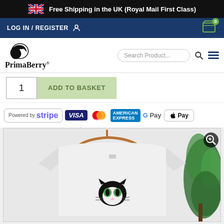Free Shipping in the UK (Royal Mail First Class)
LOG IN / REGISTER
[Figure (logo): PrimaBerry logo with bird/leaf graphic and text 'PrimaBerry']
Search Product...
ADD TO BASKET
[Figure (infographic): Payment method logos: Powered by Stripe, VISA, Mastercard, American Express, G Pay, Apple Pay]
[Figure (photo): White t-shirt on a hanger with a black and white cat printed on it, green plant in background]